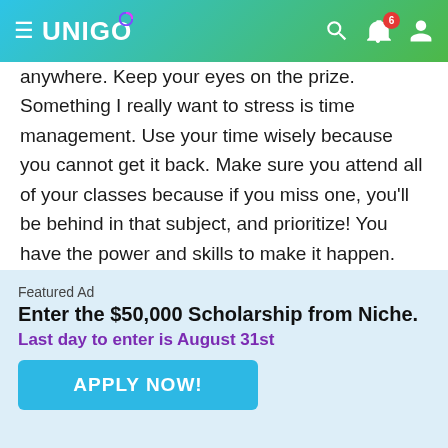UNIGO
anywhere. Keep your eyes on the prize. Something I really want to stress is time management. Use your time wisely because you cannot get it back. Make sure you attend all of your classes because if you miss one, you'll be behind in that subject, and prioritize! You have the power and skills to make it happen.
Chelsea
Plymouth State University is a college which you have to do well in order to actually succeed. Many of the
Featured Ad
Enter the $50,000 Scholarship from Niche.
Last day to enter is August 31st
APPLY NOW!